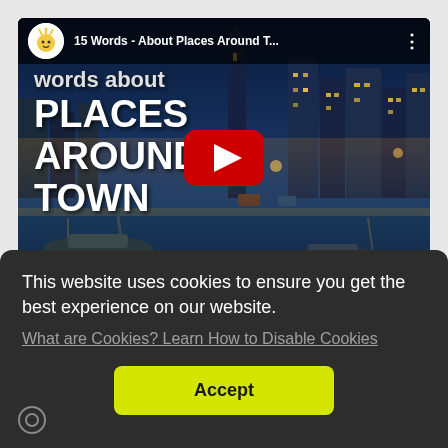[Figure (screenshot): YouTube video thumbnail showing 'PLACES AROUND TOWN' over a night city canal scene (Amsterdam-like). Top bar shows video title '15 Words - About Places Around T...' with a mascot avatar. A red YouTube play button is centered. Bottom overlay text reads 'for English learners'.]
This website uses cookies to ensure you get the best experience on our website.
What are Cookies? Learn How to Disable Cookies
Accept